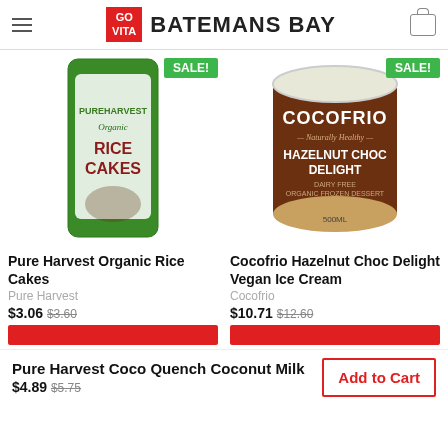GO VITA BATEMANS BAY
[Figure (photo): Pure Harvest Organic Rice Cakes product bag with SALE badge]
[Figure (photo): Cocofrio Hazelnut Choc Delight Vegan Ice Cream tub with SALE badge]
Pure Harvest Organic Rice Cakes
Pure Harvest
$3.06  $3.60
Cocofrio Hazelnut Choc Delight Vegan Ice Cream
Cocofrio
$10.71  $12.60
Pure Harvest Coco Quench Coconut Milk
$4.89  $5.75
Add to Cart